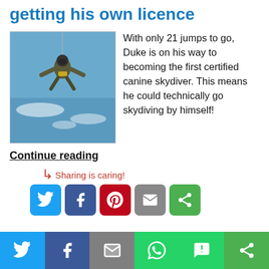getting his own licence
[Figure (photo): A person in military gear skydiving mid-air against a blue sky with clouds]
With only 21 jumps to go, Duke is on his way to becoming the first certified canine skydiver. This means he could technically go skydiving by himself!
Continue reading
Sharing is caring!
[Figure (infographic): Social share buttons: Twitter, Facebook, Pinterest, Email, ShareThis]